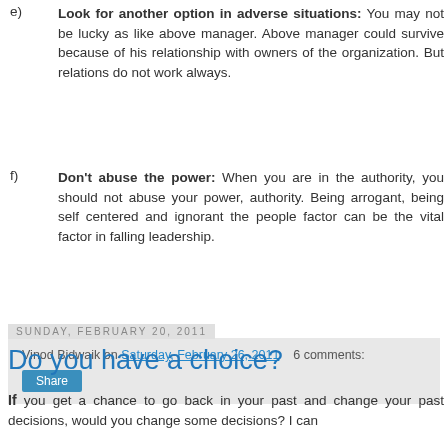e) Look for another option in adverse situations: You may not be lucky as like above manager. Above manager could survive because of his relationship with owners of the organization. But relations do not work always.
f) Don't abuse the power: When you are in the authority, you should not abuse your power, authority. Being arrogant, being self centered and ignorant the people factor can be the vital factor in falling leadership.
Vinod Bidwaik on Saturday, February 26, 2011   6 comments:
Sunday, February 20, 2011
Do you have a choice?
If you get a chance to go back in your past and change your past decisions, would you change some decisions? I can